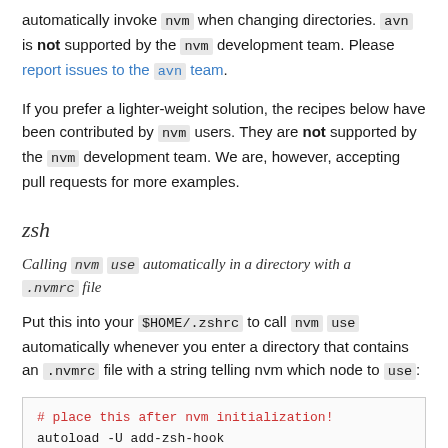automatically invoke nvm when changing directories. avn is not supported by the nvm development team. Please report issues to the avn team.
If you prefer a lighter-weight solution, the recipes below have been contributed by nvm users. They are not supported by the nvm development team. We are, however, accepting pull requests for more examples.
zsh
Calling nvm use automatically in a directory with a .nvmrc file
Put this into your $HOME/.zshrc to call nvm use automatically whenever you enter a directory that contains an .nvmrc file with a string telling nvm which node to use:
[Figure (screenshot): Code block showing shell script: # place this after nvm initialization!, autoload -U add-zsh-hook, load-nvmrc() {]